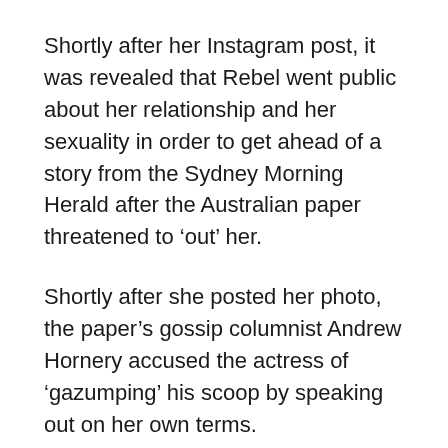Shortly after her Instagram post, it was revealed that Rebel went public about her relationship and her sexuality in order to get ahead of a story from the Sydney Morning Herald after the Australian paper threatened to ‘out’ her.
Shortly after she posted her photo, the paper’s gossip columnist Andrew Hornery accused the actress of ‘gazumping’ his scoop by speaking out on her own terms.
‘Thanks for your comments, it was a very hard situation but trying to handle it with grace,’ she later wrote in a reply to a Twitter post by Channel 10’s Kate Dav…